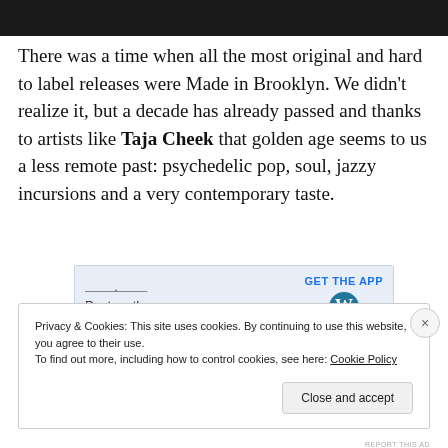[Figure (photo): Dark image strip at top of page, partially visible photograph]
There was a time when all the most original and hard to label releases were Made in Brooklyn. We didn't realize it, but a decade has already passed and thanks to artists like Taja Cheek that golden age seems to us a less remote past: psychedelic pop, soul, jazzy incursions and a very contemporary taste.
[Figure (screenshot): WordPress app advertisement: 'Post on the go.' with GET THE APP button and WordPress logo]
REPORT THIS AD
Privacy & Cookies: This site uses cookies. By continuing to use this website, you agree to their use.
To find out more, including how to control cookies, see here: Cookie Policy
Close and accept